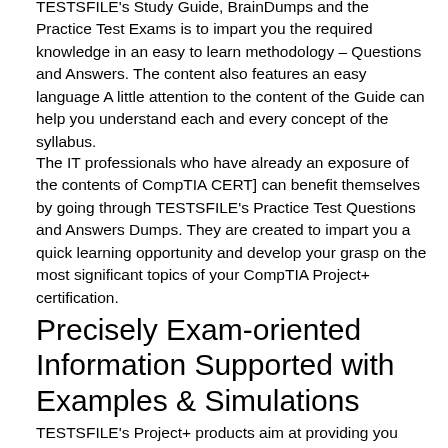TESTSFILE's Study Guide, BrainDumps and the Practice Test Exams is to impart you the required knowledge in an easy to learn methodology – Questions and Answers. The content also features an easy language A little attention to the content of the Guide can help you understand each and every concept of the syllabus.
The IT professionals who have already an exposure of the contents of CompTIA CERT] can benefit themselves by going through TESTSFILE's Practice Test Questions and Answers Dumps. They are created to impart you a quick learning opportunity and develop your grasp on the most significant topics of your CompTIA Project+ certification.
Precisely Exam-oriented Information Supported with Examples & Simulations
TESTSFILE's Project+ products aim at providing you with the most precise information and discalling...